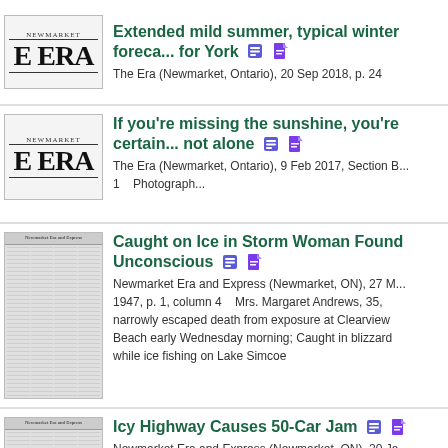Extended mild summer, typical winter forecast for York — The Era (Newmarket, Ontario), 20 Sep 2018, p. 24
If you're missing the sunshine, you're certainly not alone — The Era (Newmarket, Ontario), 9 Feb 2017, Section B... 1 Photograph...
Caught on Ice in Storm Woman Found Unconscious — Newmarket Era and Express (Newmarket, ON), 27 M... 1947, p. 1, column 4   Mrs. Margaret Andrews, 35, narrowly escaped death from exposure at Clearview Beach early Wednesday morning; Caught in blizzard while ice fishing on Lake Simcoe
Icy Highway Causes 50-Car Jam — Newmarket Era and Express (Newmarket, ON), 20 Ja... 1949, p. 1, column 1   The icy roads Saturday afternoon and evening played havoc with cars travelling on the...